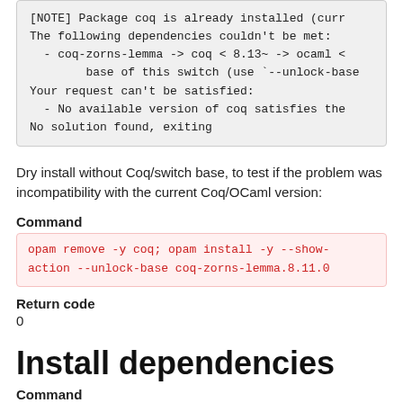[NOTE] Package coq is already installed (curr
The following dependencies couldn't be met:
  - coq-zorns-lemma -> coq < 8.13~ -> ocaml <
        base of this switch (use `--unlock-base
Your request can't be satisfied:
  - No available version of coq satisfies the
No solution found, exiting
Dry install without Coq/switch base, to test if the problem was incompatibility with the current Coq/OCaml version:
Command
opam remove -y coq; opam install -y --show-action --unlock-base coq-zorns-lemma.8.11.0
Return code
0
Install dependencies
Command